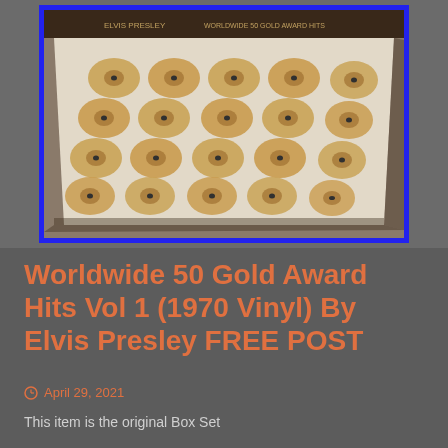[Figure (photo): A vinyl record box set open showing a white tray with approximately 25 vinyl records arranged in rows of 5, viewed at an angle. Photo has a blue border.]
Worldwide 50 Gold Award Hits Vol 1 (1970 Vinyl) By Elvis Presley FREE POST
April 29, 2021
This item is the original Box Set